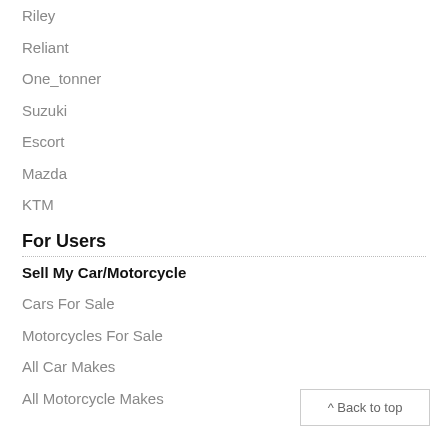Riley
Reliant
One_tonner
Suzuki
Escort
Mazda
KTM
For Users
Sell My Car/Motorcycle
Cars For Sale
Motorcycles For Sale
All Car Makes
All Motorcycle Makes
^ Back to top